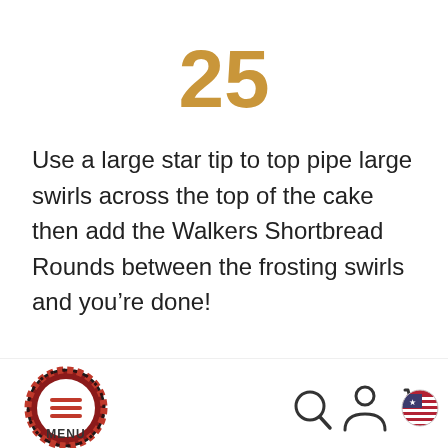25
Use a large star tip to top pipe large swirls across the top of the cake then add the Walkers Shortbread Rounds between the frosting swirls and you're done!
[Figure (other): Bottom navigation bar with MENU button (hamburger icon with tartan circular border), search icon, user/account icon, shopping cart icon, and US flag icon]